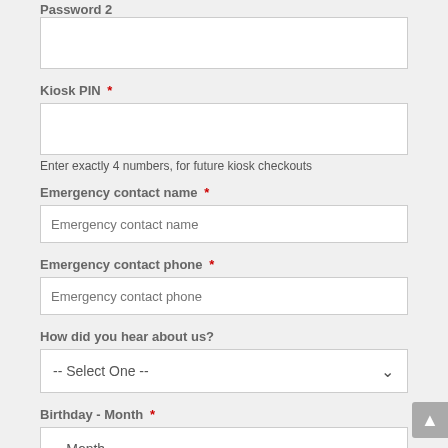Password 2
Kiosk PIN *
Enter exactly 4 numbers, for future kiosk checkouts
Emergency contact name *
Emergency contact phone *
How did you hear about us?
Birthday - Month *